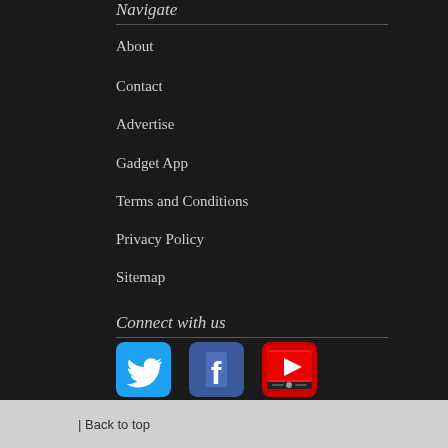Navigate
About
Contact
Advertise
Gadget App
Terms and Conditions
Privacy Policy
Sitemap
Connect with us
[Figure (logo): Twitter, Facebook, and YouTube social media icons side by side]
| Back to top